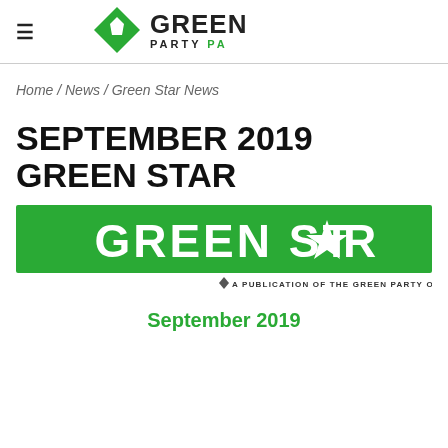Green Party PA (navigation header with logo)
Home / News / Green Star News
SEPTEMBER 2019 GREEN STAR
[Figure (logo): Green Star banner logo — white text 'GREEN STAR' with a star replacing the letter A, on a green background. Below: diamond icon and text 'A PUBLICATION OF THE GREEN PARTY OF PENNSYLVANIA']
September 2019